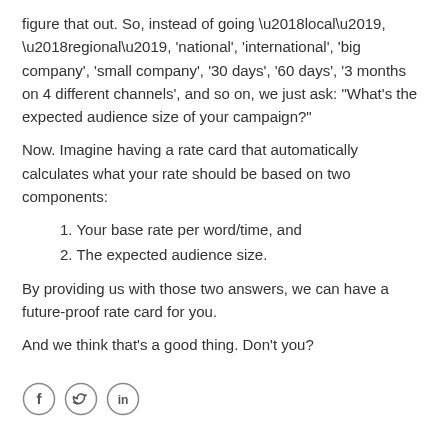figure that out. So, instead of going ‘local’, ‘regional’, ‘national’, ‘international’, ‘big company’, ‘small company’, ‘30 days’, ‘60 days’, ‘3 months on 4 different channels’, and so on, we just ask: “What’s the expected audience size of your campaign?”
Now. Imagine having a rate card that automatically calculates what your rate should be based on two components:
1. Your base rate per word/time, and
2. The expected audience size.
By providing us with those two answers, we can have a future-proof rate card for you.
And we think that’s a good thing. Don’t you?
[Figure (illustration): Social media icons: Facebook (f), Twitter (bird), LinkedIn (in) in circular outlines]